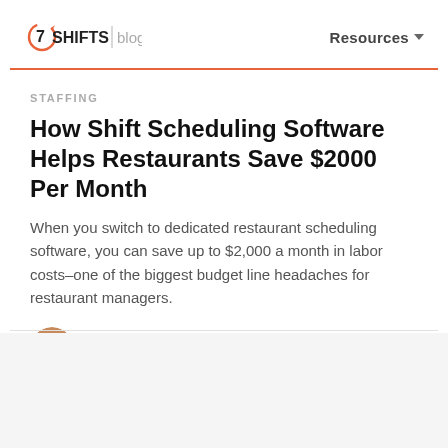7SHIFTS | blog   Resources
STAFFING
How Shift Scheduling Software Helps Restaurants Save $2000 Per Month
When you switch to dedicated restaurant scheduling software, you can save up to $2,000 a month in labor costs–one of the biggest budget line headaches for restaurant managers.
13 MARCH 2019 | 11 MIN READ